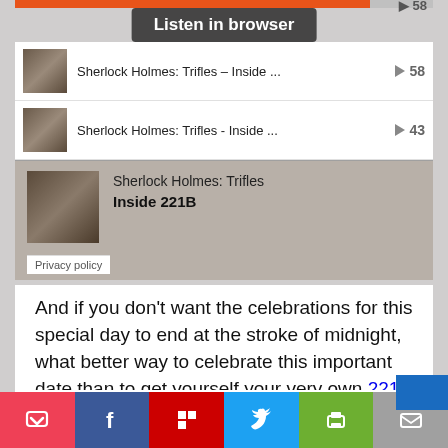[Figure (screenshot): SoundCloud player widget showing 'Listen in browser' tooltip, with two track rows for 'Sherlock Holmes: Trifles – Inside ...' with play counts 58 and 43, and an expanded card for 'Sherlock Holmes: Trifles / Inside 221B' with a Privacy policy link below.]
And if you don't want the celebrations for this special day to end at the stroke of midnight, what better way to celebrate this important date than to get yourself your very own 221B oval sticker? For your car, your laptop, your refrigerator — anywhere you like.
[Figure (illustration): Partial view of a circular black arc/logo at the bottom of the page.]
[Figure (screenshot): Bottom share bar with icons for Pocket (red), Facebook (dark blue), Flipboard (red), Twitter (light blue), Print (green), Email (grey), and a blue button on the right.]